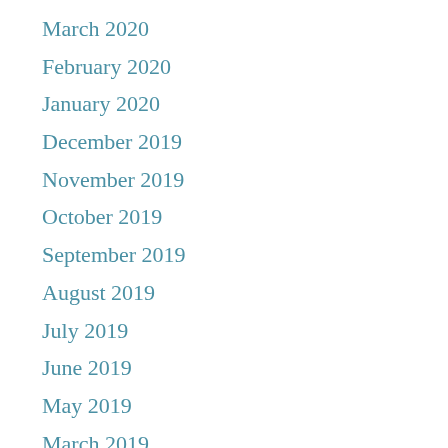March 2020
February 2020
January 2020
December 2019
November 2019
October 2019
September 2019
August 2019
July 2019
June 2019
May 2019
March 2019
January 2019